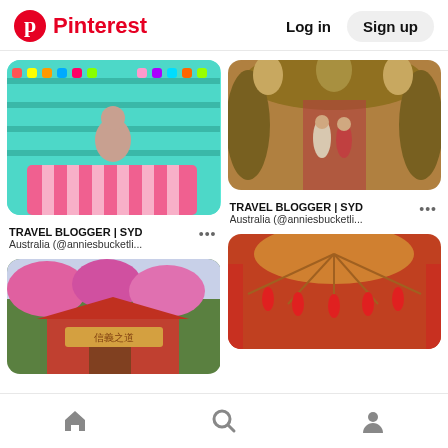Pinterest  Log in  Sign up
[Figure (photo): Woman in candy shop with colorful shelves, pink striped counter — TRAVEL BLOGGER | SYD Australia (@anniesbucketli...)]
TRAVEL BLOGGER | SYD
Australia (@anniesbucketli...
[Figure (photo): Couple walking in lush tropical garden corridor — TRAVEL BLOGGER | SYD Australia (@anniesbucketli...)]
TRAVEL BLOGGER | SYD
Australia (@anniesbucketli...
[Figure (photo): Chinese temple gate with pink blossom trees]
[Figure (photo): Red and gold Chinese lantern decorated ceiling interior]
Home  Search  Profile